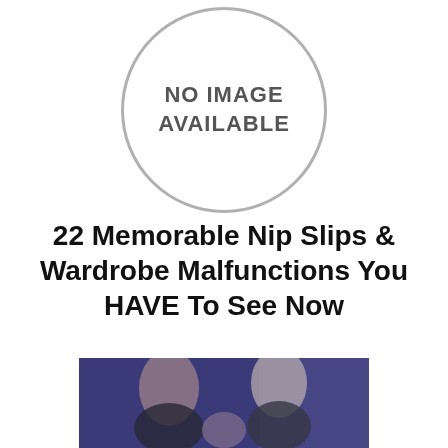[Figure (other): Circle placeholder with text NO IMAGE AVAILABLE]
22 Memorable Nip Slips & Wardrobe Malfunctions You HAVE To See Now
[Figure (photo): Photo showing three women in an indoor scene with blue lighting]